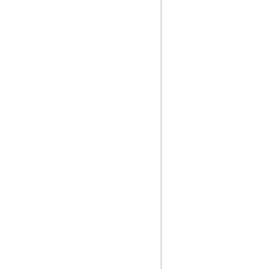r areaningincredible bond that began wi